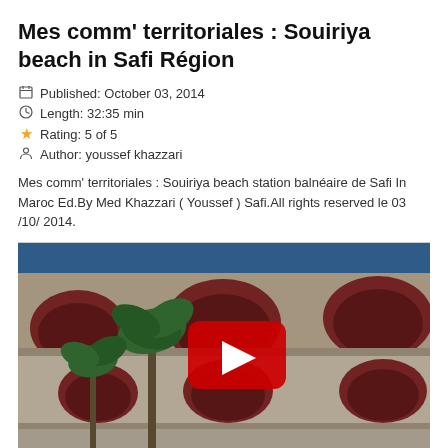Mes comm' territoriales : Souiriya beach in Safi Région
Published: October 03, 2014
Length: 32:35 min
Rating: 5 of 5
Author: youssef khazzari
Mes comm' territoriales : Souiriya beach station balnéaire de Safi In Maroc Ed.By Med Khazzari ( Youssef ) Safi.All rights reserved le 03 /10/ 2014.
[Figure (photo): Video thumbnail showing a Moroccan-style building with arched windows and palm trees under a blue sky, with a YouTube-style red play button overlay in the center]